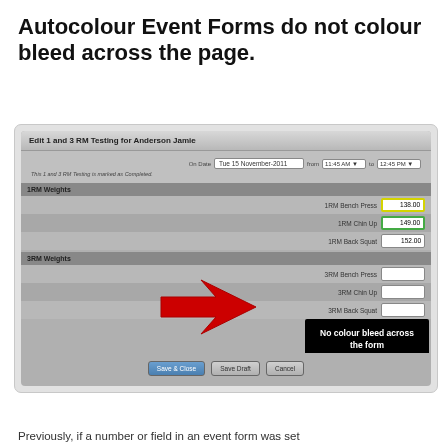Autocolour Event Forms do not colour bleed across the page.
[Figure (screenshot): Screenshot of an event form titled 'Edit 1 and 3 RM Testing for Anderson Jamie'. Shows a form with date 'Tue 15 November 2011', time fields '11:45 AM' to '12:45 PM', sections for '1RM Weights' with fields for 1RM Bench Press (138.00), 1RM Chin Up (149.00), 1RM Back Squat (152.00) highlighted, and '3RM Weights' section with empty fields for 3RM Bench Press, 3RM Chin Up, 3RM Back Squat. A red arrow points to the 1RM Back Squat field and a black box annotation reads 'No colour bleed across the form'. Buttons: Save & Close, Save Draft, Cancel.]
Previously, if a number or field in an event form was set